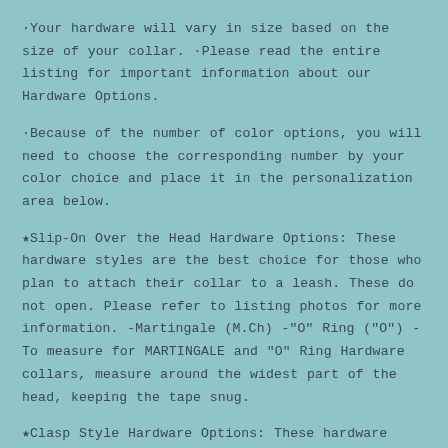·Your hardware will vary in size based on the size of your collar. ·Please read the entire listing for important information about our Hardware Options.
·Because of the number of color options, you will need to choose the corresponding number by your color choice and place it in the personalization area below.
★Slip-On Over the Head Hardware Options: These hardware styles are the best choice for those who plan to attach their collar to a leash. These do not open. Please refer to listing photos for more information. -Martingale (M.Ch) -"O" Ring ("O") -To measure for MARTINGALE and "O" Ring Hardware collars, measure around the widest part of the head, keeping the tape snug.
★Clasp Style Hardware Options: These hardware styles are